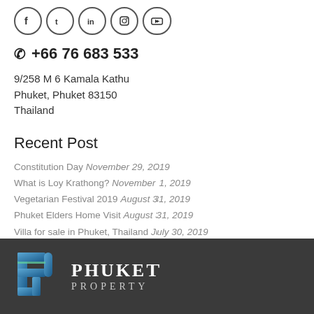[Figure (illustration): Row of five social media icons (Facebook, Twitter, LinkedIn, Instagram, YouTube) in circular borders]
☎ +66 76 683 533
9/258 M 6 Kamala Kathu
Phuket, Phuket 83150
Thailand
Recent Post
Constitution Day  November 29, 2019
What is Loy Krathong?  November 1, 2019
Vegetarian Festival 2019  August 31, 2019
Phuket Elders Home Visit  August 31, 2019
Villa for sale in Phuket, Thailand  July 30, 2019
[Figure (logo): Phuket Property logo with blue 'P' icon and text PHUKET PROPERTY on dark background]